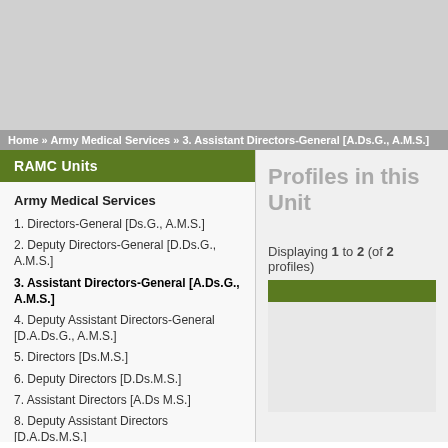Home » Army Medical Services » 3. Assistant Directors-General [A.Ds.G., A.M.S.]
RAMC Units
Army Medical Services
1. Directors-General [Ds.G., A.M.S.]
2. Deputy Directors-General [D.Ds.G., A.M.S.]
3. Assistant Directors-General [A.Ds.G., A.M.S.]
4. Deputy Assistant Directors-General [D.A.Ds.G., A.M.S.]
5. Directors [Ds.M.S.]
6. Deputy Directors [D.Ds.M.S.]
7. Assistant Directors [A.Ds M.S.]
8. Deputy Assistant Directors [D.A.Ds.M.S.]
9. Other
Home Service
Ambulance Trains
Profiles in this Unit
Displaying 1 to 2 (of 2 profiles)